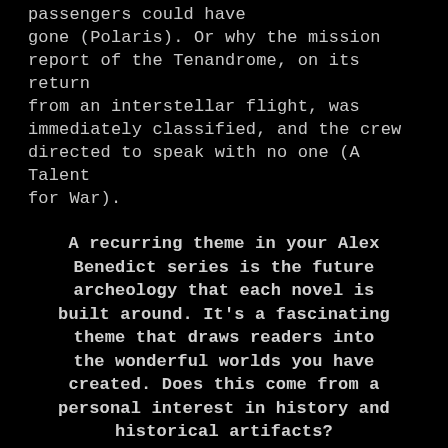passengers could have gone (Polaris). Or why the mission report of the Tenandrome, on its return from an interstellar flight, was immediately classified, and the crew directed to speak with no one (A Talent for War).
A recurring theme in your Alex Benedict series is the future archeology that each novel is built around. It's a fascinating theme that draws readers into the wonderful worlds you have created. Does this come from a personal interest in history and historical artifacts?
It does. I got drawn into the world of